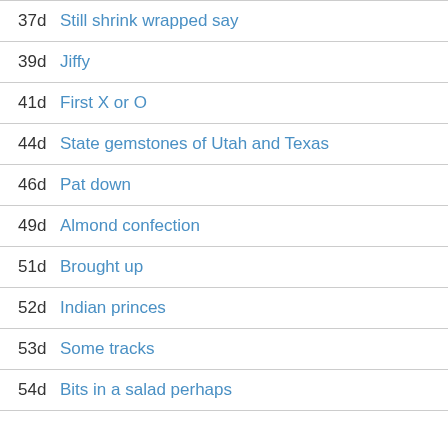37d Still shrink wrapped say
39d Jiffy
41d First X or O
44d State gemstones of Utah and Texas
46d Pat down
49d Almond confection
51d Brought up
52d Indian princes
53d Some tracks
54d Bits in a salad perhaps